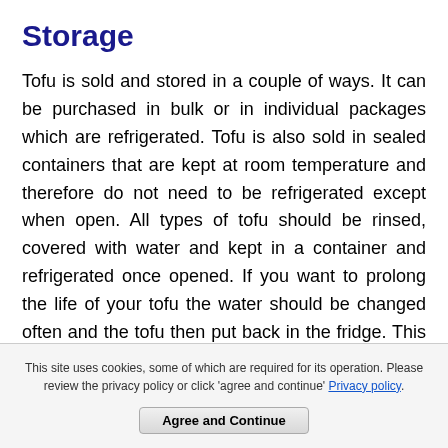Storage
Tofu is sold and stored in a couple of ways. It can be purchased in bulk or in individual packages which are refrigerated. Tofu is also sold in sealed containers that are kept at room temperature and therefore do not need to be refrigerated except when open. All types of tofu should be rinsed, covered with water and kept in a container and refrigerated once opened. If you want to prolong the life of your tofu the water should be changed often and the tofu then put back in the fridge. This should help it to last for up to a week or more. You can even freeze tofu providing it is kept in its original packaging.
This site uses cookies, some of which are required for its operation. Please review the privacy policy or click 'agree and continue' Privacy policy.